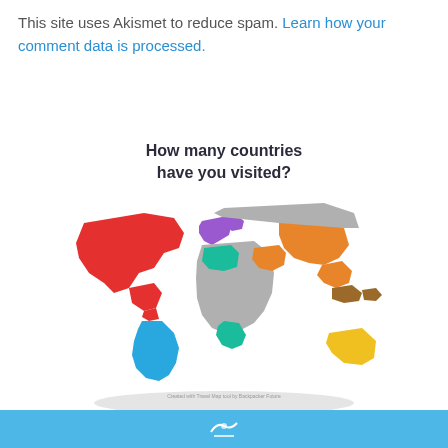This site uses Akismet to reduce spam. Learn how your comment data is processed.
[Figure (map): World map with countries highlighted in different colors: North America in red, South America (Brazil area) in blue, Europe in purple, Algeria/North Africa in teal, Southern Africa in teal, Middle East/Asia in orange, Australia in yellow, rest in gray. Title: How many countries have you visited?]
[Figure (infographic): Blue bar at the bottom with a white map/travel icon]